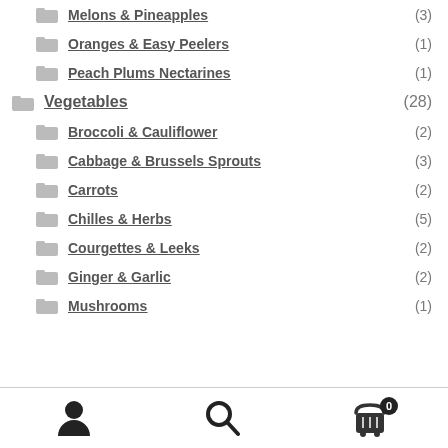Melons & Pineapples (3)
Oranges & Easy Peelers (1)
Peach Plums Nectarines (1)
Vegetables (28)
Broccoli & Cauliflower (2)
Cabbage & Brussels Sprouts (3)
Carrots (2)
Chilles & Herbs (5)
Courgettes & Leeks (2)
Ginger & Garlic (2)
Mushrooms (1)
[Figure (infographic): Bottom navigation bar with user account icon, search icon, and shopping cart icon with badge showing 0]